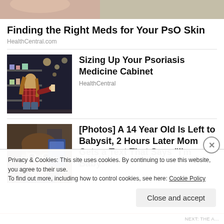[Figure (photo): Top cropped image showing hands and a skin-toned background, partial view]
Finding the Right Meds for Your PsO Skin
HealthCentral.com
[Figure (photo): Photo of a woman shopping in a pharmacy/store aisle, crouching to look at products on shelves]
Sizing Up Your Psoriasis Medicine Cabinet
HealthCentral
[Figure (photo): Photo of a young girl, approximately 14 years old, looking at camera]
[Photos] A 14 Year Old Is Left to Babysit, 2 Hours Later Mom Gets a Text That Says "I'm Baby"
Privacy & Cookies: This site uses cookies. By continuing to use this website, you agree to their use.
To find out more, including how to control cookies, see here: Cookie Policy
Close and accept